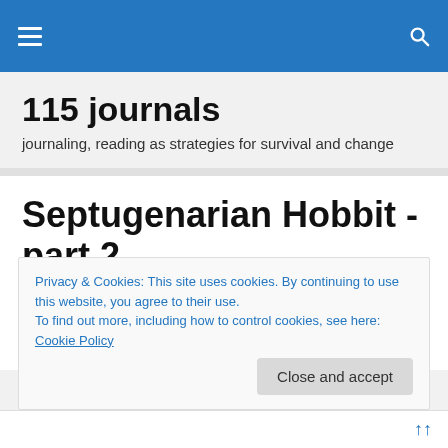115 journals — navigation bar with hamburger menu and search icon
115 journals
journaling, reading as strategies for survival and change
Septugenarian Hobbit -part 2
Hobbits, as I said in a previous post dislike adventures. Bilbo and Frodo of JRR Tolkein's The Hobbit and The Lord
Privacy & Cookies: This site uses cookies. By continuing to use this website, you agree to their use.
To find out more, including how to control cookies, see here: Cookie Policy
Close and accept